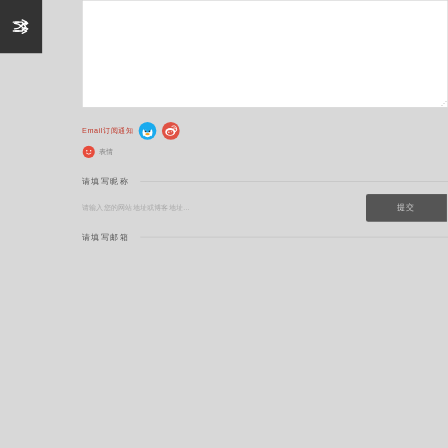[Figure (screenshot): Dark gray block with shuffle/random icon (two crossed arrows) in white]
Email订阅通知
[Figure (logo): QQ blue penguin logo]
[Figure (logo): Weibo red flame/bird logo]
[Figure (logo): Red smiley face emoji icon]
表情
提交
请填写昵称
请输入您的网站地址或博客地址…
请填写邮箱